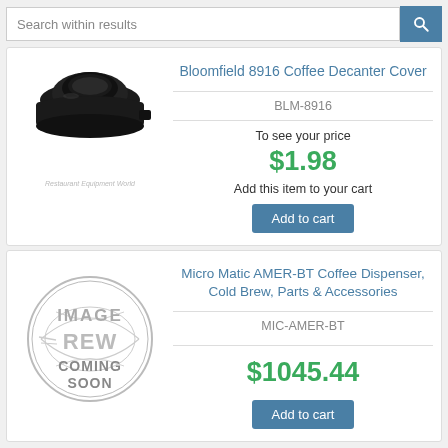Search within results
[Figure (photo): Black Bloomfield 8916 Coffee Decanter Cover product photo]
Bloomfield 8916 Coffee Decanter Cover
BLM-8916
To see your price
$1.98
Add this item to your cart
Add to cart
[Figure (illustration): REW image coming soon placeholder circle logo]
Micro Matic AMER-BT Coffee Dispenser, Cold Brew, Parts & Accessories
MIC-AMER-BT
$1045.44
Add to cart